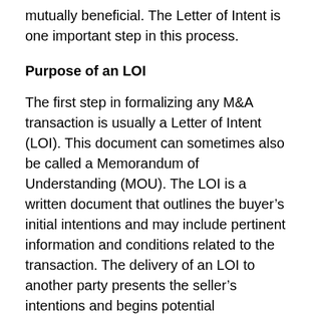mutually beneficial. The Letter of Intent is one important step in this process.
Purpose of an LOI
The first step in formalizing any M&A transaction is usually a Letter of Intent (LOI). This document can sometimes also be called a Memorandum of Understanding (MOU). The LOI is a written document that outlines the buyer’s initial intentions and may include pertinent information and conditions related to the transaction. The delivery of an LOI to another party presents the seller’s intentions and begins potential negotiations. If you are the party issuing an LOI, you will want to make sure your letter is professional, clearly communicates your intentions, and sets forth